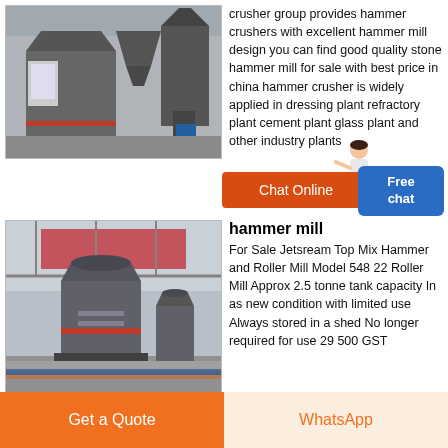[Figure (photo): Industrial hammer mill / crusher machine in a factory setting, with large grey cone-shaped equipment and dust collection systems]
crusher group provides hammer crushers with excellent hammer mill design you can find good quality stone hammer mill for sale with best price in china hammer crusher is widely applied in dressing plant refractory plant cement plant glass plant and other industry plants
[Figure (other): Orange Chat Online button with blue Free chat overlay box and a woman character illustration]
[Figure (photo): Industrial hammer mill and roller mill machines inside a large industrial warehouse facility]
hammer mill
For Sale Jetsream Top Mix Hammer and Roller Mill Model 548 22 Roller Mill Approx 2.5 tonne tank capacity In as new condition with limited use Always stored in a shed No longer required for use 29 500 GST
[Figure (other): Get a Quote orange button and WhatsApp button at page bottom]